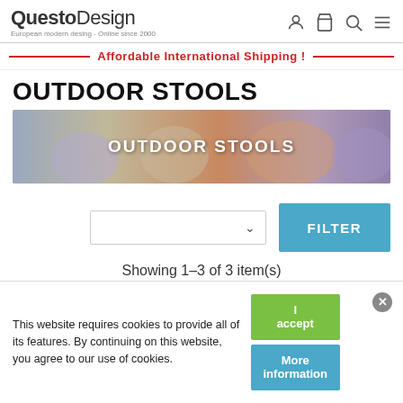QuestoDesign — European modern desing - Online since 2000
Affordable International Shipping !
OUTDOOR STOOLS
[Figure (photo): Banner image showing colorful outdoor stools in pastel shades with OUTDOOR STOOLS text overlay]
Showing 1-3 of 3 item(s)
This website requires cookies to provide all of its features. By continuing on this website, you agree to our use of cookies.